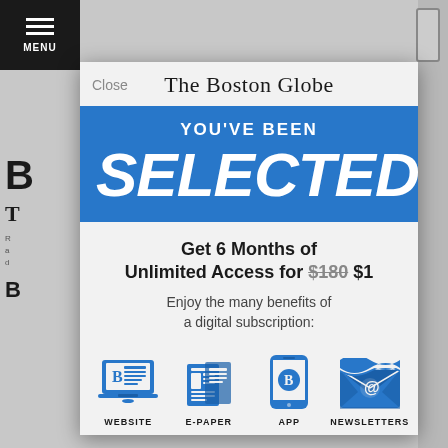[Figure (screenshot): Screenshot of The Boston Globe website with a subscription modal dialog overlay. Background shows news article page with MENU button. Modal contains newspaper masthead, blue banner with 'YOU'VE BEEN SELECTED', offer text, and benefit icons.]
The Boston Globe
YOU'VE BEEN
SELECTED
Get 6 Months of Unlimited Access for $180 $1
Enjoy the many benefits of a digital subscription:
WEBSITE  E-PAPER  APP  NEWSLETTERS